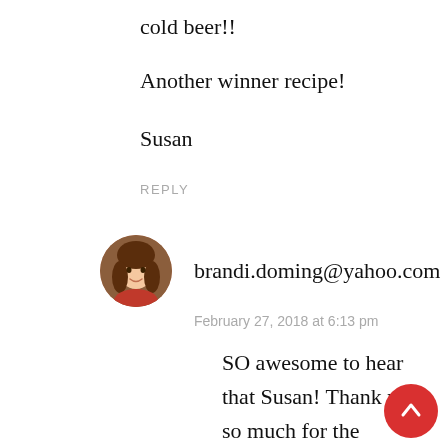cold beer!!
Another winner recipe!
Susan
REPLY
brandi.doming@yahoo.com
February 27, 2018 at 6:13 pm
SO awesome to hear that Susan! Thank you so much for the glowing review! Would you mind to please give it a star rating below the comment box as well? Those star ratings really help my